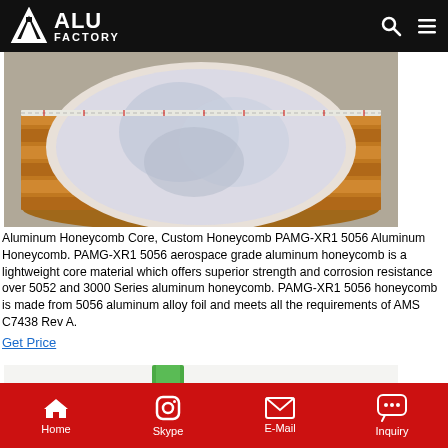ALU FACTORY
[Figure (photo): Top-down view of aluminum honeycomb core roll wrapped in plastic, sitting in a wooden reel/spool crate on a warehouse floor.]
Aluminum Honeycomb Core, Custom Honeycomb PAMG-XR1 5056 Aluminum Honeycomb. PAMG-XR1 5056 aerospace grade aluminum honeycomb is a lightweight core material which offers superior strength and corrosion resistance over 5052 and 3000 Series aluminum honeycomb. PAMG-XR1 5056 honeycomb is made from 5056 aluminum alloy foil and meets all the requirements of AMS C7438 Rev A.
Get Price
[Figure (photo): Close-up of white aluminum honeycomb sheet with a green strap across it.]
Home  Skype  E-Mail  Inquiry